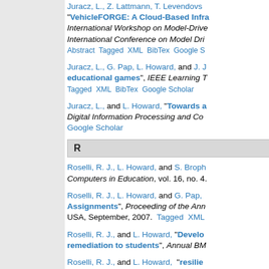Juracz, L., Z. Lattmann, T. Levendovsz... "VehicleFORGE: A Cloud-Based Infra...", International Workshop on Model-Drive... International Conference on Model Dri... Abstract Tagged XML BibTex Google S...
Juracz, L., G. Pap, L. Howard, and J. J... educational games", IEEE Learning T... Tagged XML BibTex Google Scholar
Juracz, L., and L. Howard, "Towards a...", Digital Information Processing and Co... Google Scholar
R
Roselli, R. J., L. Howard, and S. Broph... Computers in Education, vol. 16, no. 4...
Roselli, R. J., L. Howard, and G. Pap, ... Assignments", Proceeding of the Ann... USA, September, 2007. Tagged XML...
Roselli, R. J., and L. Howard, "Develo... remediation to students", Annual BM...
Roselli, R. J., and L. Howard, "resilie...